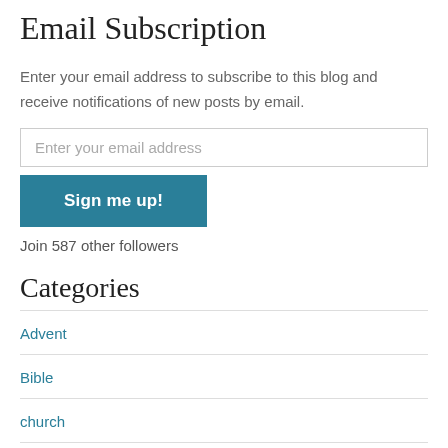Email Subscription
Enter your email address to subscribe to this blog and receive notifications of new posts by email.
Enter your email address
Sign me up!
Join 587 other followers
Categories
Advent
Bible
church
comedy